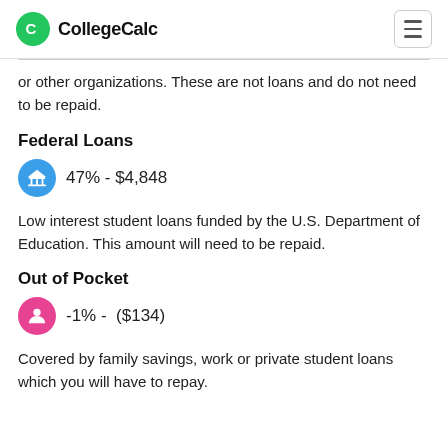CollegeCalc
or other organizations. These are not loans and do not need to be repaid.
Federal Loans
47% - $4,848
Low interest student loans funded by the U.S. Department of Education. This amount will need to be repaid.
Out of Pocket
-1% -  ($134)
Covered by family savings, work or private student loans which you will have to repay.